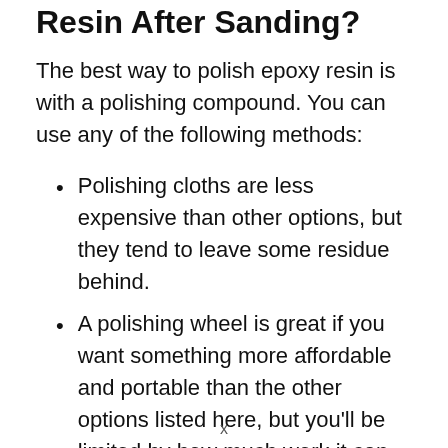Resin After Sanding?
The best way to polish epoxy resin is with a polishing compound. You can use any of the following methods:
Polishing cloths are less expensive than other options, but they tend to leave some residue behind.
A polishing wheel is great if you want something more affordable and portable than the other options listed here, but you'll be limited by how much work it can do before needing to be
x